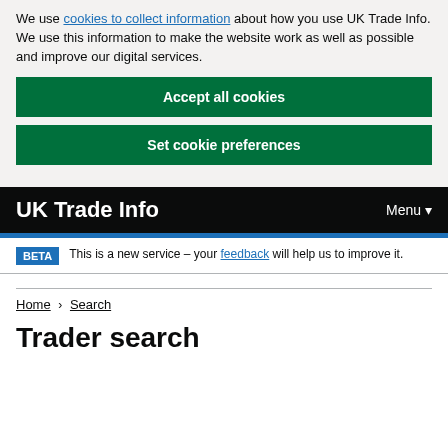We use cookies to collect information about how you use UK Trade Info. We use this information to make the website work as well as possible and improve our digital services.
Accept all cookies
Set cookie preferences
UK Trade Info | Menu
BETA This is a new service – your feedback will help us to improve it.
Home > Search
Trader search